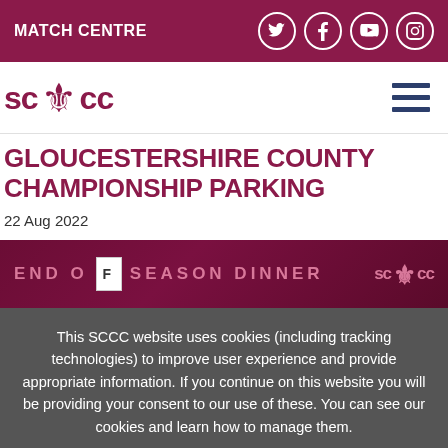MATCH CENTRE
[Figure (logo): SCCC cricket club logo with lion emblem]
GLOUCESTERSHIRE COUNTY CHAMPIONSHIP PARKING
22 Aug 2022
[Figure (illustration): End of Season Dinner banner with SCCC logo on dark maroon background]
This SCCC website uses cookies (including tracking technologies) to improve user experience and provide appropriate information. If you continue on this website you will be providing your consent to our use of these. You can see our cookies and learn how to manage them.